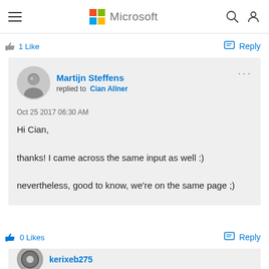Microsoft
1 Like   Reply
Martijn Steffens replied to Cian Allner
Oct 25 2017 06:30 AM
Hi Cian,
thanks! I came across the same input as well :)
nevertheless, good to know, we’re on the same page ;)
0 Likes   Reply
kerixeb275